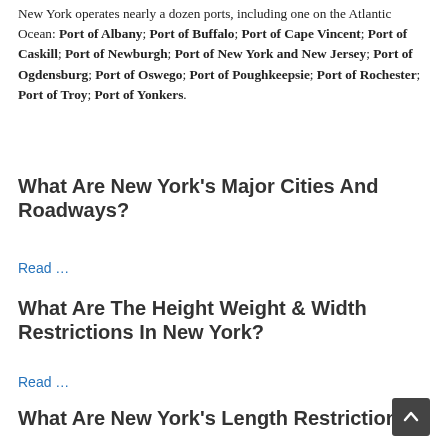New York operates nearly a dozen ports, including one on the Atlantic Ocean: Port of Albany; Port of Buffalo; Port of Cape Vincent; Port of Caskill; Port of Newburgh; Port of New York and New Jersey; Port of Ogdensburg; Port of Oswego; Port of Poughkeepsie; Port of Rochester; Port of Troy; Port of Yonkers.
What Are New York's Major Cities And Roadways?
Read …
What Are The Height Weight & Width Restrictions In New York?
Read …
What Are New York's Length Restrictions?